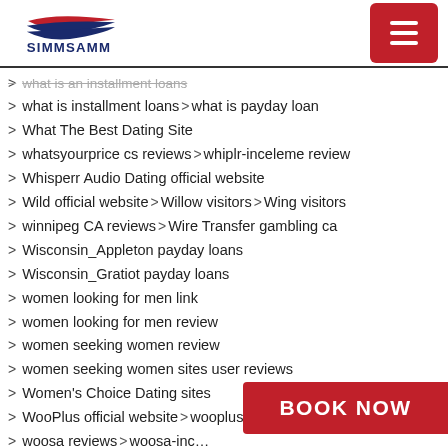SIMMSAMM
what is an installment loans
what is installment loans  >  what is payday loan
What The Best Dating Site
whatsyourprice cs reviews  >  whiplr-inceleme review
Whisperr Audio Dating official website
Wild official website  >  Willow visitors  >  Wing visitors
winnipeg CA reviews  >  Wire Transfer gambling ca
Wisconsin_Appleton payday loans
Wisconsin_Gratiot payday loans
women looking for men link
women looking for men review
women seeking women review
women seeking women sites user reviews
Women's Choice Dating sites
WooPlus official website  >  wooplus visitors
woosa reviews  >  woosa-inceleme
worldpaydayloans.com ins